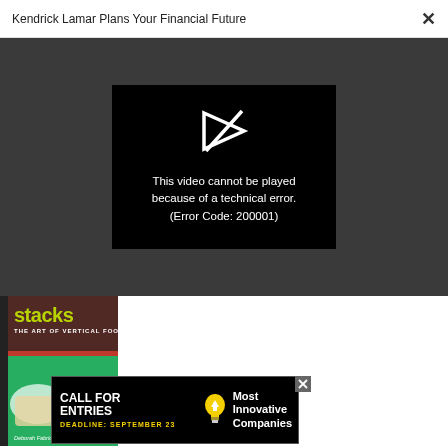Kendrick Lamar Plans Your Financial Future ×
[Figure (screenshot): Video player showing error: a broken play button icon with slash through it, white on black background, with text 'This video cannot be played because of a technical error. (Error Code: 200001)' on a black rectangle centered in a dark gray area]
[Figure (photo): Book cover for 'stacks THE ART OF VERTICAL FOOD' by Deborah Fabricant, showing stacked food dishes on a colorful background]
[Figure (screenshot): Advertisement banner with black background reading 'CALL FOR ENTRIES' in large white bold text, 'DEADLINE: SEPTEMBER 23' in yellow, a light bulb icon, and 'Most Innovative Companies' in white text on the right]